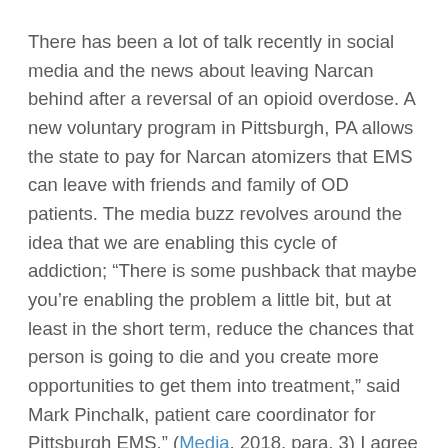There has been a lot of talk recently in social media and the news about leaving Narcan behind after a reversal of an opioid overdose. A new voluntary program in Pittsburgh, PA allows the state to pay for Narcan atomizers that EMS can leave with friends and family of OD patients. The media buzz revolves around the idea that we are enabling this cycle of addiction; “There is some pushback that maybe you’re enabling the problem a little bit, but at least in the short term, reduce the chances that person is going to die and you create more opportunities to get them into treatment,” said Mark Pinchalk, patient care coordinator for Pittsburgh EMS.” (Media, 2018, para. 3) I agree with Mr. Pinchalk that as an EMS Provider we are not there to judge, we are there to render aid.